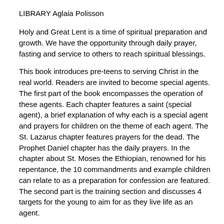LIBRARY Aglaia Polisson
Holy and Great Lent is a time of spiritual preparation and growth. We have the opportunity through daily prayer, fasting and service to others to reach spiritual blessings.
This book introduces pre-teens to serving Christ in the real world. Readers are invited to become special agents. The first part of the book encompasses the operation of these agents. Each chapter features a saint (special agent), a brief explanation of why each is a special agent and prayers for children on the theme of each agent. The St. Lazarus chapter features prayers for the dead. The Prophet Daniel chapter has the daily prayers. In the chapter about St. Moses the Ethiopian, renowned for his repentance, the 10 commandments and example children can relate to as a preparation for confession are featured. The second part is the training section and discusses 4 targets for the young to aim for as they live life as an agent.
LENTEN PRAYER OF ST. EPHRAIM Lord and master of my life, deliver me from the spirit Of laziness ,meddling, ambition and gossip. Give me, Your servant, the spirit of prudence, humility, patience and love. Lord and King grant that I may see a musing